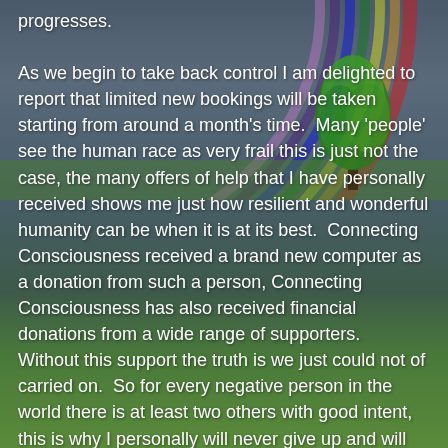[Figure (illustration): Background image of a stormy sky with a rainbow arcing across it, green grass at the bottom, and a lone green tree on the right side.]
progresses.

As we begin to take back control I am delighted to report that limited new bookings will be taken starting from around a month's time.  Many 'people' see the human race as very frail this is just not the case, the many offers of help that I have personally received shows me just how resilient and wonderful humanity can be when it is at its best.  Connecting Consciousness received a brand new computer as a donation from such a person, Connecting Consciousness has also received financial donations from a wide range of supporters.  Without this support the truth is we just could not of carried on.  So for every negative person in the world there is at least two others with good intent, this is why I personally will never give up and will always do what I can to assist and help those who need it.  Without the untiring help from the volunteers at Connecting Consciousness my creation would have failed, which shows that individually we can be constrained but